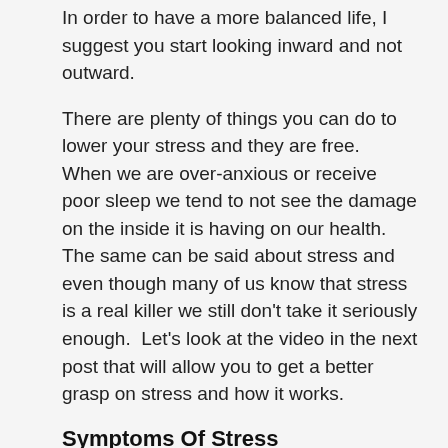In order to have a more balanced life, I suggest you start looking inward and not outward.
There are plenty of things you can do to lower your stress and they are free.  When we are over-anxious or receive poor sleep we tend to not see the damage on the inside it is having on our health. The same can be said about stress and even though many of us know that stress is a real killer we still don't take it seriously enough.  Let's look at the video in the next post that will allow you to get a better grasp on stress and how it works.
Symptoms Of Stress
There are many symptoms in stress as there are in Anxiety. Although they may seem similar they are unique in their own right. If you see these symptoms of stress in yourself or others you should get on top of them straight away as they often start with one or two and then more